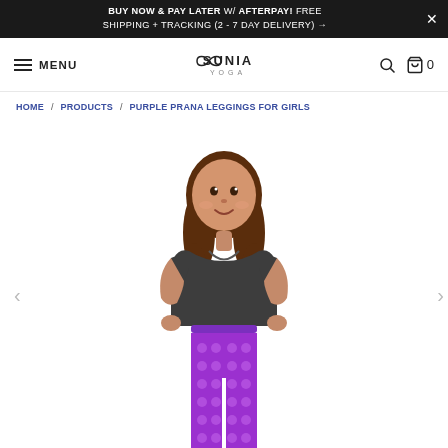BUY NOW & PAY LATER W/ AFTERPAY! FREE SHIPPING + TRACKING (2 - 7 DAY DELIVERY) →
MENU | SUNIA YOGA | Search | Cart 0
HOME / PRODUCTS / PURPLE PRANA LEGGINGS FOR GIRLS
[Figure (photo): A young girl wearing a dark grey t-shirt and bright purple leggings with a repeated pattern, standing with hands on hips against a white background. Navigation arrows on left and right sides.]